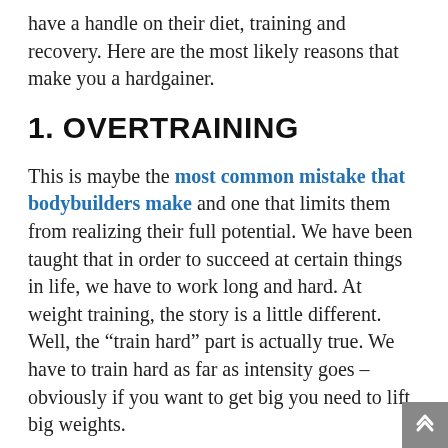have a handle on their diet, training and recovery. Here are the most likely reasons that make you a hardgainer.
1. OVERTRAINING
This is maybe the most common mistake that bodybuilders make and one that limits them from realizing their full potential. We have been taught that in order to succeed at certain things in life, we have to work long and hard. At weight training, the story is a little different. Well, the “train hard” part is actually true. We have to train hard as far as intensity goes – obviously if you want to get big you need to lift big weights.
The problem starts when we apply the “more is better” philosophy to weight training. I constantly